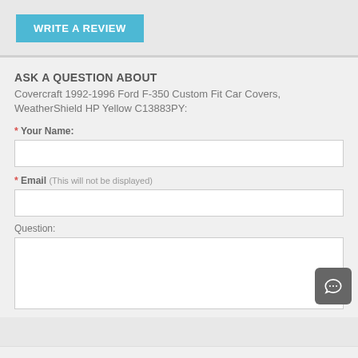WRITE A REVIEW
ASK A QUESTION ABOUT
Covercraft 1992-1996 Ford F-350 Custom Fit Car Covers, WeatherShield HP Yellow C13883PY:
* Your Name:
* Email (This will not be displayed)
Question: